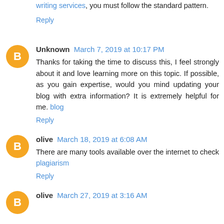writing services, you must follow the standard pattern.
Reply
Unknown March 7, 2019 at 10:17 PM
Thanks for taking the time to discuss this, I feel strongly about it and love learning more on this topic. If possible, as you gain expertise, would you mind updating your blog with extra information? It is extremely helpful for me. blog
Reply
olive March 18, 2019 at 6:08 AM
There are many tools available over the internet to check plagiarism
Reply
olive March 27, 2019 at 3:16 AM